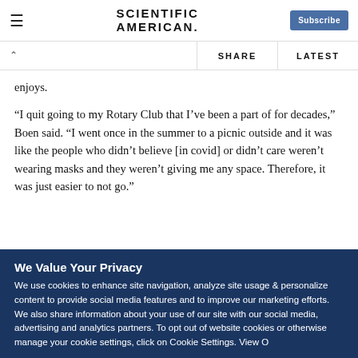SCIENTIFIC AMERICAN | Subscribe
enjoys.
“I quit going to my Rotary Club that I’ve been a part of for decades,” Boen said. “I went once in the summer to a picnic outside and it was like the people who didn’t believe [in covid] or didn’t care weren’t wearing masks and they weren’t giving me any space. Therefore, it was just easier to not go.”
We Value Your Privacy
We use cookies to enhance site navigation, analyze site usage & personalize content to provide social media features and to improve our marketing efforts. We also share information about your use of our site with our social media, advertising and analytics partners. To opt out of website cookies or otherwise manage your cookie settings, click on Cookie Settings. View O...